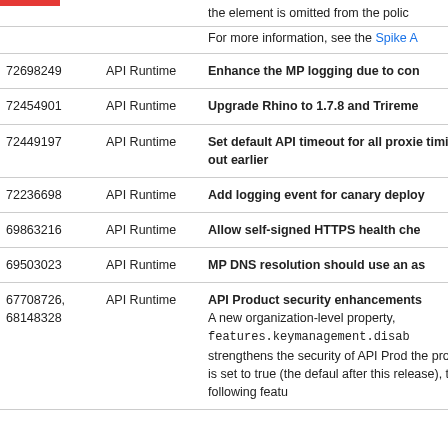the element is omitted from the policy
For more information, see the Spike A
| ID | Category | Description |
| --- | --- | --- |
| 72698249 | API Runtime | Enhance the MP logging due to con... |
| 72454901 | API Runtime | Upgrade Rhino to 1.7.8 and Trireme... |
| 72449197 | API Runtime | Set default API timeout for all proxies timing out earlier |
| 72236698 | API Runtime | Add logging event for canary deploy... |
| 69863216 | API Runtime | Allow self-signed HTTPS health che... |
| 69503023 | API Runtime | MP DNS resolution should use an as... |
| 67708726, 68148328 | API Runtime | API Product security enhancements
A new organization-level property, features.keymanagement.disab... strengthens the security of API Prod... the property is set to true (the defaul after this release), the following featu |